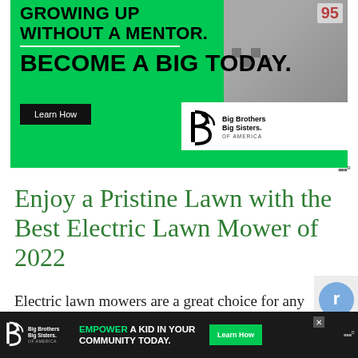[Figure (screenshot): Big Brothers Big Sisters of America advertisement banner on green background with text 'GROWING UP WITHOUT A MENTOR. BECOME A BIG TODAY.' with a Learn How button and BBBS logo, and a photo of a racing fan in top right corner]
Enjoy a Pristine Lawn with the Best Electric Lawn Mower of 2022
Electric lawn mowers are a great choice for any established small to medium-sized yard, offering plenty of
[Figure (screenshot): Bottom banner advertisement: Big Brothers Big Sisters logo on left, text 'EMPOWER A KID IN YOUR COMMUNITY TODAY.' in center with Learn How button in green, close X button, and Weatherbug logo on right]